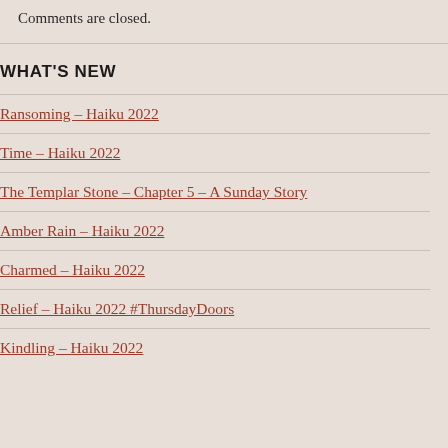Comments are closed.
WHAT'S NEW
Ransoming – Haiku 2022
Time – Haiku 2022
The Templar Stone – Chapter 5 – A Sunday Story
Amber Rain – Haiku 2022
Charmed – Haiku 2022
Relief – Haiku 2022 #ThursdayDoors
Kindling – Haiku 2022